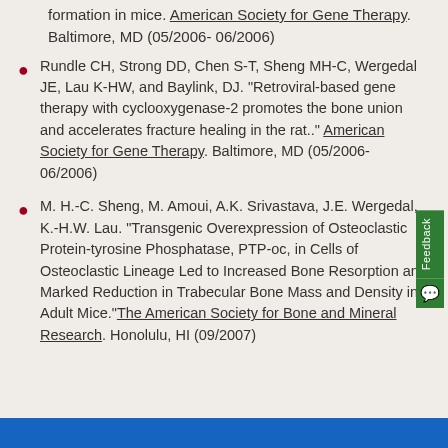formation in mice. American Society for Gene Therapy. Baltimore, MD (05/2006- 06/2006)
Rundle CH, Strong DD, Chen S-T, Sheng MH-C, Wergedal JE, Lau K-HW, and Baylink, DJ. "Retroviral-based gene therapy with cyclooxygenase-2 promotes the bone union and accelerates fracture healing in the rat.." American Society for Gene Therapy. Baltimore, MD (05/2006- 06/2006)
M. H.-C. Sheng, M. Amoui, A.K. Srivastava, J.E. Wergedal, K.-H.W. Lau. "Transgenic Overexpression of Osteoclastic Protein-tyrosine Phosphatase, PTP-oc, in Cells of Osteoclastic Lineage Led to Increased Bone Resorption and Marked Reduction in Trabecular Bone Mass and Density in Adult Mice." The American Society for Bone and Mineral Research. Honolulu, HI (09/2007)